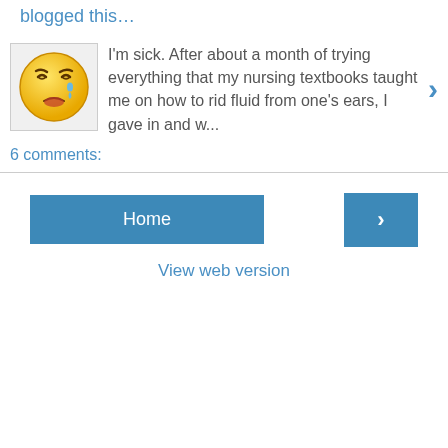blogged this…
[Figure (illustration): Yellow sick/crying emoji face]
I'm sick.  After about a month of trying everything that my nursing textbooks taught me on how to rid fluid from one's ears, I gave in and w...
6 comments:
Home
View web version